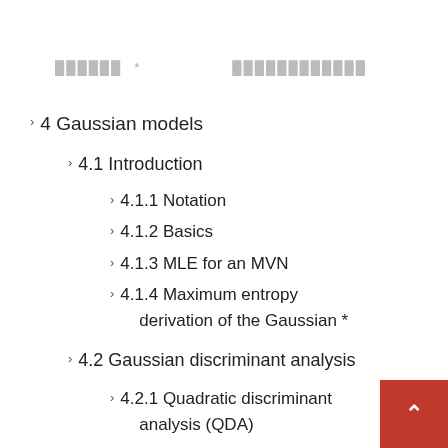██████  *  ████████████
4 Gaussian models
4.1 Introduction
4.1.1 Notation
4.1.2 Basics
4.1.3 MLE for an MVN
4.1.4 Maximum entropy derivation of the Gaussian *
4.2 Gaussian discriminant analysis
4.2.1 Quadratic discriminant analysis (QDA)
4.2.2 Linear discriminant analysis